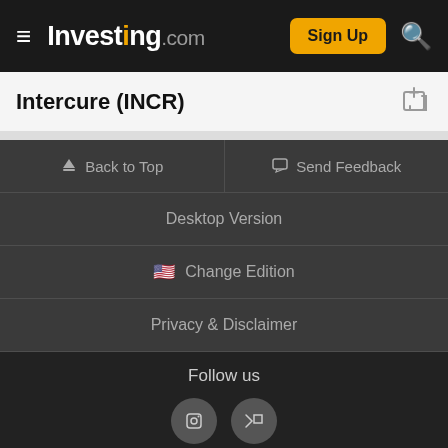Investing.com — Sign Up
Intercure (INCR)
Back to Top
Send Feedback
Desktop Version
Change Edition
Privacy & Disclaimer
Follow us
ADVERTISEMENT